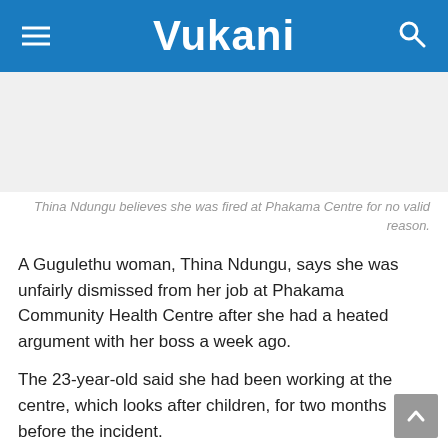Vukani
[Figure (photo): Image area placeholder for photo of Thina Ndungu]
Thina Ndungu believes she was fired at Phakama Centre for no valid reason.
A Gugulethu woman, Thina Ndungu, says she was unfairly dismissed from her job at Phakama Community Health Centre after she had a heated argument with her boss a week ago.
The 23-year-old said she had been working at the centre, which looks after children, for two months before the incident.